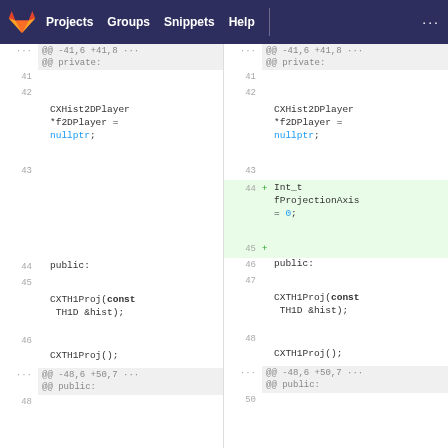GitLab navigation bar: Projects | Groups | Snippets | Help | ...
[Figure (screenshot): A GitLab diff view showing two panes side-by-side. Left pane shows original code (lines 41-48) and right pane shows modified code (lines 41-50) with added lines 44-45 for 'Int_t fProjectionAxis = 0;'. The diff shows a C++ header file with CXHist2DPlayer, CXTH1Proj class declarations.]